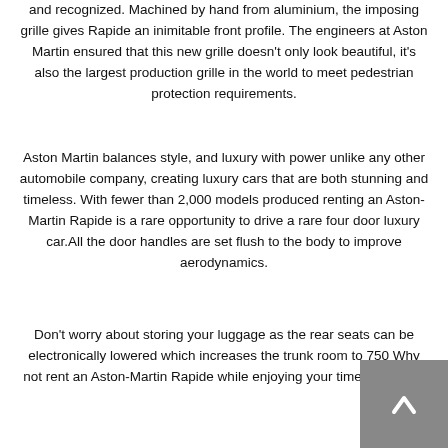and recognized. Machined by hand from aluminium, the imposing grille gives Rapide an inimitable front profile. The engineers at Aston Martin ensured that this new grille doesn't only look beautiful, it's also the largest production grille in the world to meet pedestrian protection requirements.
Aston Martin balances style, and luxury with power unlike any other automobile company, creating luxury cars that are both stunning and timeless. With fewer than 2,000 models produced renting an Aston-Martin Rapide is a rare opportunity to drive a rare four door luxury car.All the door handles are set flush to the body to improve aerodynamics.
Don't worry about storing your luggage as the rear seats can be electronically lowered which increases the trunk room to 750 Why not rent an Aston-Martin Rapide while enjoying your time in the US!